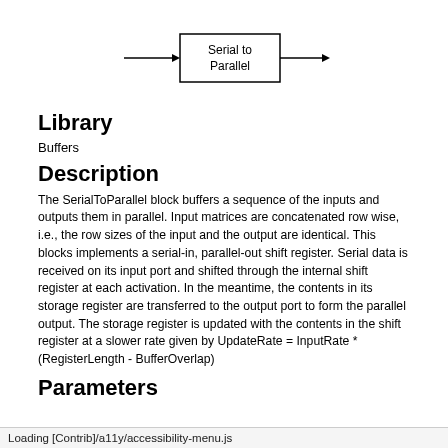[Figure (schematic): Block diagram of 'Serial to Parallel' block with an input arrow on the left and an output arrow on the right, rectangular block with the label 'Serial to Parallel' inside.]
Library
Buffers
Description
The SerialToParallel block buffers a sequence of the inputs and outputs them in parallel. Input matrices are concatenated row wise, i.e., the row sizes of the input and the output are identical. This blocks implements a serial-in, parallel-out shift register. Serial data is received on its input port and shifted through the internal shift register at each activation. In the meantime, the contents in its storage register are transferred to the output port to form the parallel output. The storage register is updated with the contents in the shift register at a slower rate given by UpdateRate = InputRate * (RegisterLength - BufferOverlap)
Parameters
Loading [Contrib]/a11y/accessibility-menu.js